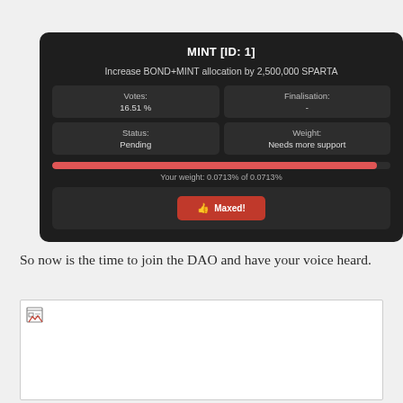[Figure (screenshot): Dark-themed DAO governance card showing MINT [ID: 1] proposal to increase BOND+MINT allocation by 2,500,000 SPARTA. Shows Votes: 16.51%, Finalisation: -, Status: Pending, Weight: Needs more support. Red progress bar nearly full. 'Your weight: 0.0713% of 0.0713%'. Red 'Maxed!' button.]
So now is the time to join the DAO and have your voice heard.
[Figure (photo): Broken/missing image placeholder with small document icon in top-left corner.]